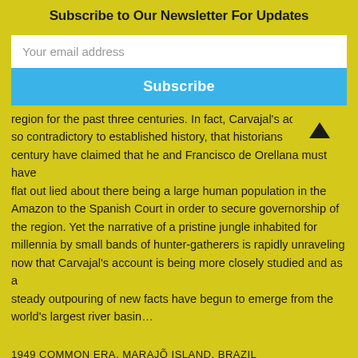Subscribe to Our Newsletter For Updates
Your email address
Subscribe
region for the past three centuries. In fact, Carvajal’s acco[unt was] so contradictory to established history, that historians [of the last] century have claimed that he and Francisco de Orellana must have flat out lied about there being a large human population in the Amazon to the Spanish Court in order to secure governorship of the region. Yet the narrative of a pristine jungle inhabited for millennia by small bands of hunter-gatherers is rapidly unraveling now that Carvajal’s account is being more closely studied and as a steady outpouring of new facts have begun to emerge from the world’s largest river basin…
1949 COMMON ERA, MARAJÕ ISLAND, BRAZIL
Betty Meggers shook her head in disbelief. She and her team of